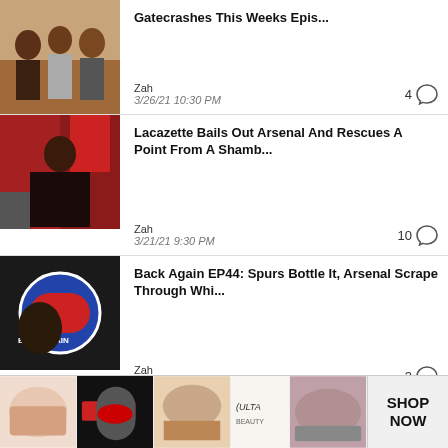[Figure (screenshot): Thumbnail photo of three men standing together in a gym-like setting]
Gatecrashes This Weeks Epis...
Zah
3/26/21 10:30 PM
4 comments
[Figure (screenshot): Man in red Arsenal shirt sitting on couch with red/white banners behind]
Lacazette Bails Out Arsenal And Rescues A Point From A Shamb...
Zah
3/21/21 9:30 PM
10 comments
[Figure (screenshot): Back Again podcast thumbnail with man and London Is Red logo]
Back Again EP44: Spurs Bottle It, Arsenal Scrape Through Whi...
Zah
3/19/21 3:50 PM
3 comments
[Figure (screenshot): Partial thumbnail for Back Again EP 43]
Back Again EP 43: Spurs Gets Put In A
[Figure (advertisement): Ulta Beauty advertisement banner with makeup imagery and Shop Now button]